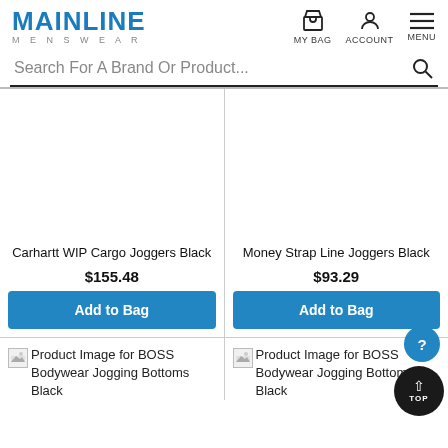[Figure (logo): Mainline Menswear logo in blue]
[Figure (infographic): Navigation icons: MY BAG (shopping bag icon), ACCOUNT (person icon), MENU (hamburger icon)]
Search For A Brand Or Product...
[Figure (photo): Product image area for Carhartt WIP Cargo Joggers Black (blank/white)]
Carhartt WIP Cargo Joggers Black
$155.48
Add to Bag
[Figure (photo): Product image area for Money Strap Line Joggers Black (blank/white)]
Money Strap Line Joggers Black
$93.29
Add to Bag
[Figure (photo): Broken product image for BOSS Bodywear Jogging Bottoms Black]
Product Image for BOSS Bodywear Jogging Bottoms Black
[Figure (photo): Broken product image for BOSS Bodywear Jogging Bottoms Black]
Product Image for BOSS Bodywear Jogging Bottoms Black